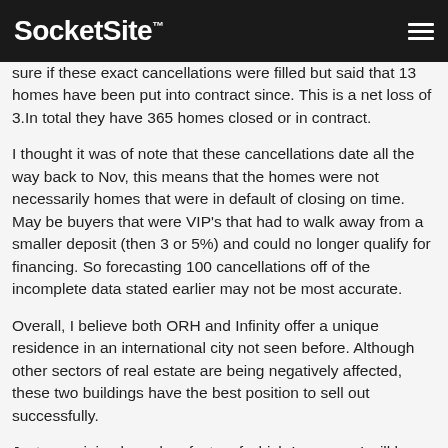SocketSite™
sure if these exact cancellations were filled but said that 13 homes have been put into contract since. This is a net loss of 3.In total they have 365 homes closed or in contract.
I thought it was of note that these cancellations date all the way back to Nov, this means that the homes were not necessarily homes that were in default of closing on time. May be buyers that were VIP's that had to walk away from a smaller deposit (then 3 or 5%) and could no longer qualify for financing. So forecasting 100 cancellations off of the incomplete data stated earlier may not be most accurate.
Overall, I believe both ORH and Infinity offer a unique residence in an international city not seen before. Although other sectors of real estate are being negatively affected, these two buildings have the best position to sell out successfully.
Just an opinion based on facts, of which I am sure I will be thoroughly reamed.
Posted by fluj 15 years ago
@ Willow. Good. You should be.